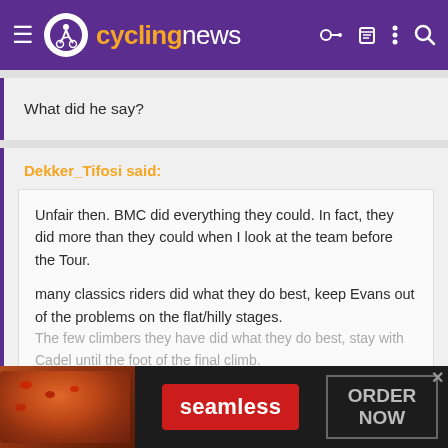cyclingnews
What did he say?
Dekker_Tifosi said:
Unfair then. BMC did everything they could. In fact, they did more than they could when I look at the team before the Tour.

many classics riders did what they do best, keep Evans out of the problems on the flat/hilly stages.
The few climbers they have did what they do best, stay with Cadel until the foot of the final climb.
Click to expand...
[Figure (screenshot): Seamless food delivery advertisement banner with pizza image, red Seamless button, and ORDER NOW button]